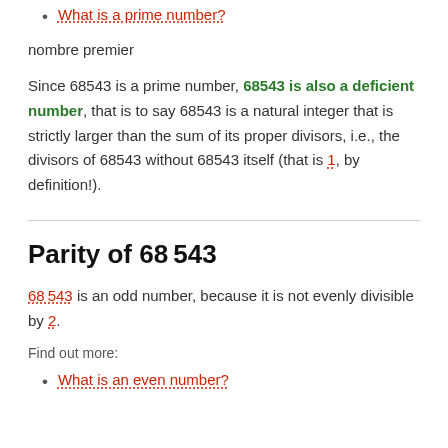What is a prime number?
nombre premier
Since 68543 is a prime number, 68543 is also a deficient number, that is to say 68543 is a natural integer that is strictly larger than the sum of its proper divisors, i.e., the divisors of 68543 without 68543 itself (that is 1, by definition!).
Parity of 68 543
68 543 is an odd number, because it is not evenly divisible by 2.
Find out more:
What is an even number?